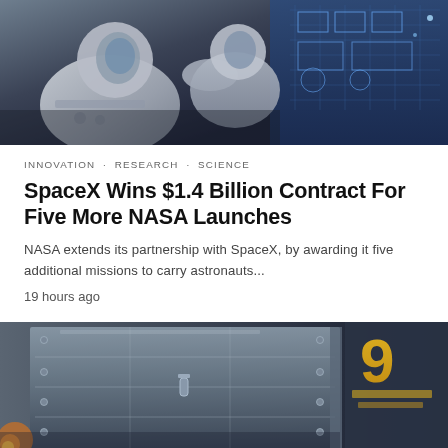[Figure (photo): Two astronauts in white spacesuits inside a spacecraft, one touching a monitor with blue screen displaying controls]
INNOVATION · RESEARCH · SCIENCE
SpaceX Wins $1.4 Billion Contract For Five More NASA Launches
NASA extends its partnership with SpaceX, by awarding it five additional missions to carry astronauts...
19 hours ago
[Figure (photo): Large metallic rocket booster or spacecraft structure in a facility, with partial yellow logo visible on the right]